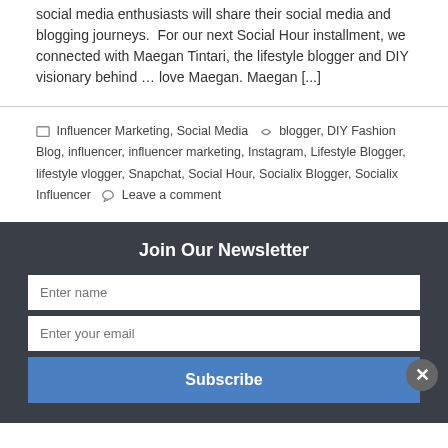social media enthusiasts will share their social media and blogging journeys. For our next Social Hour installment, we connected with Maegan Tintari, the lifestyle blogger and DIY visionary behind … love Maegan. Maegan [...]
Influencer Marketing, Social Media  blogger, DIY Fashion Blog, influencer, influencer marketing, Instagram, Lifestyle Blogger, lifestyle vlogger, Snapchat, Social Hour, Socialix Blogger, Socialix Influencer  Leave a comment
Join Our Newsletter